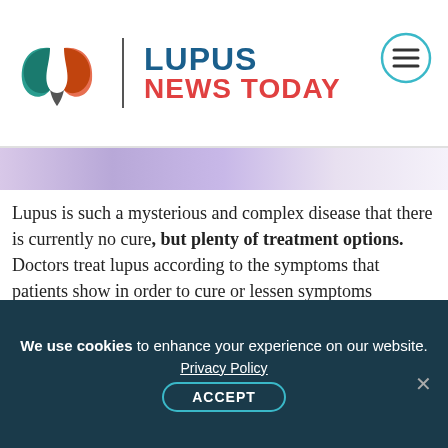[Figure (logo): Lupus News Today logo with butterfly-leaf icon, divider, and site name in blue and red]
[Figure (illustration): Purple gradient horizontal bar]
Lupus is such a mysterious and complex disease that there is currently no cure, but plenty of treatment options. Doctors treat lupus according to the symptoms that patients show in order to cure or lessen symptoms occurring at that moment.
Read more about 5 treatment options for lupus.
[Figure (illustration): Partial view of decorative purple ornament figures hanging on strings against a purple gradient background]
We use cookies to enhance your experience on our website.
Privacy Policy
ACCEPT